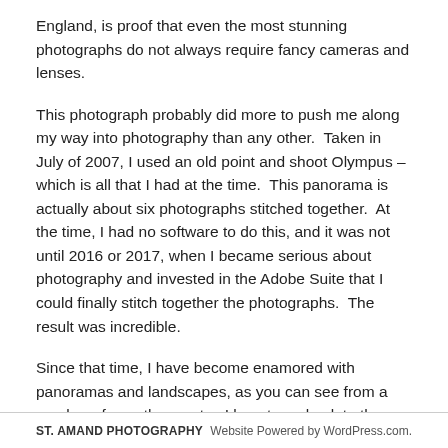England, is proof that even the most stunning photographs do not always require fancy cameras and lenses.
This photograph probably did more to push me along my way into photography than any other. Taken in July of 2007, I used an old point and shoot Olympus – which is all that I had at the time. This panorama is actually about six photographs stitched together. At the time, I had no software to do this, and it was not until 2016 or 2017, when I became serious about photography and invested in the Adobe Suite that I could finally stitch together the photographs. The result was incredible.
Since that time, I have become enamored with panoramas and landscapes, as you can see from a number of my other posts. I long to go back to the Lake District with my fancy camera and expensive lenses just to experience and to
ST. AMAND PHOTOGRAPHY    Website Powered by WordPress.com.